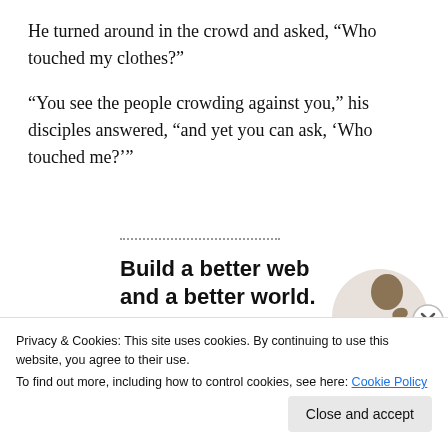He turned around in the crowd and asked, “Who touched my clothes?”
“You see the people crowding against you,” his disciples answered, “and yet you can ask, ‘Who touched me?’”
[Figure (other): Dotted horizontal line separator]
[Figure (other): Advertisement banner: Build a better web and a better world. Apply button. Photo of a man thinking.]
Privacy & Cookies: This site uses cookies. By continuing to use this website, you agree to their use.
To find out more, including how to control cookies, see here: Cookie Policy
Close and accept